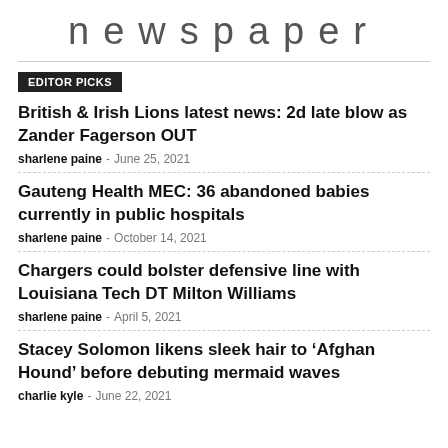newspaper
EDITOR PICKS
British & Irish Lions latest news: 2d late blow as Zander Fagerson OUT
sharlene paine - June 25, 2021
Gauteng Health MEC: 36 abandoned babies currently in public hospitals
sharlene paine - October 14, 2021
Chargers could bolster defensive line with Louisiana Tech DT Milton Williams
sharlene paine - April 5, 2021
Stacey Solomon likens sleek hair to ‘Afghan Hound’ before debuting mermaid waves
charlie kyle - June 22, 2021